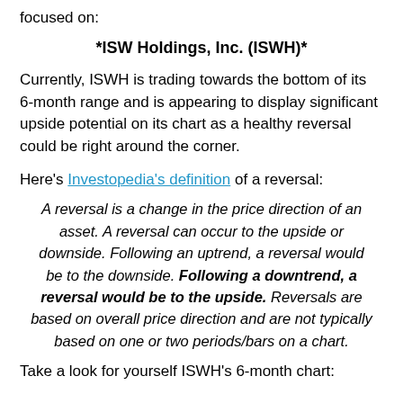focused on:
*ISW Holdings, Inc. (ISWH)*
Currently, ISWH is trading towards the bottom of its 6-month range and is appearing to display significant upside potential on its chart as a healthy reversal could be right around the corner.
Here's Investopedia's definition of a reversal:
A reversal is a change in the price direction of an asset. A reversal can occur to the upside or downside. Following an uptrend, a reversal would be to the downside. Following a downtrend, a reversal would be to the upside. Reversals are based on overall price direction and are not typically based on one or two periods/bars on a chart.
Take a look for yourself ISWH's 6-month chart: